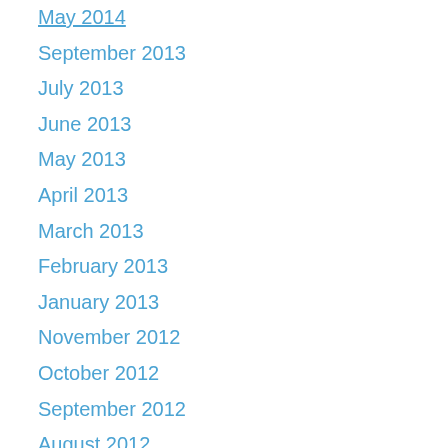May 2014
September 2013
July 2013
June 2013
May 2013
April 2013
March 2013
February 2013
January 2013
November 2012
October 2012
September 2012
August 2012
July 2012
June 2012
May 2012
April 2012
March 2012
February 2012
January 2012